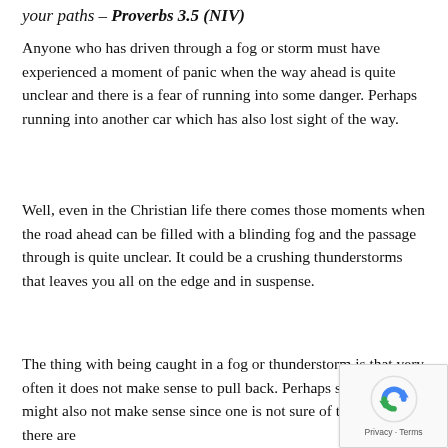your paths – Proverbs 3.5 (NIV)
Anyone who has driven through a fog or storm must have experienced a moment of panic when the way ahead is quite unclear and there is a fear of running into some danger. Perhaps running into another car which has also lost sight of the way.
Well, even in the Christian life there comes those moments when the road ahead can be filled with a blinding fog and the passage through is quite unclear. It could be a crushing thunderstorms that leaves you all on the edge and in suspense.
The thing with being caught in a fog or thunderstorm is that very often it does not make sense to pull back. Perhaps stop- which might also not make sense since one is not sure of the place there are